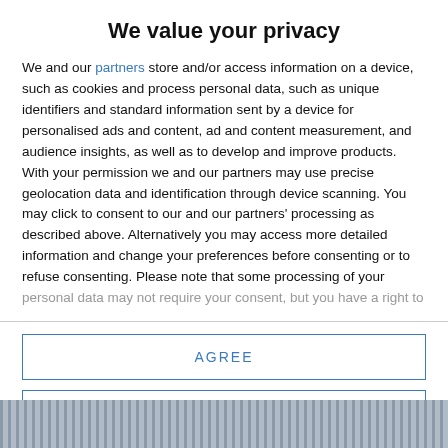We value your privacy
We and our partners store and/or access information on a device, such as cookies and process personal data, such as unique identifiers and standard information sent by a device for personalised ads and content, ad and content measurement, and audience insights, as well as to develop and improve products. With your permission we and our partners may use precise geolocation data and identification through device scanning. You may click to consent to our and our partners' processing as described above. Alternatively you may access more detailed information and change your preferences before consenting or to refuse consenting. Please note that some processing of your personal data may not require your consent, but you have a right to
AGREE
MORE OPTIONS
[Figure (photo): Bottom strip showing a blurred bookshelf or similar indoor scene in dark blue/grey tones]